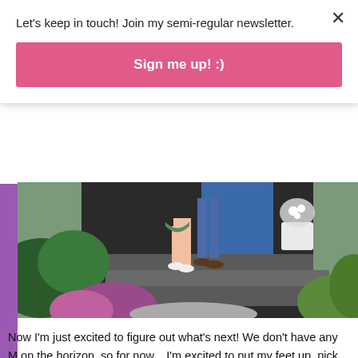Let's keep in touch! Join my semi-regular newsletter.
Sign me up! :)
[Figure (photo): Two people standing on front porch steps of a house, shot from waist down showing legs and shoes, with garden shrubs and plants in foreground]
Now I'm just excited to figure out what's next! We don't have any M on the horizon, so for now... I'm excited to put my feet up, pick out a what to do with the fact that I now own a backyard. Am I now a p food out of the ground? Can I buy a slide 'n slide? Do I have to lea